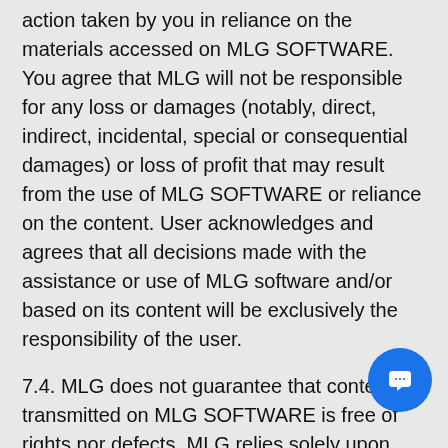action taken by you in reliance on the materials accessed on MLG SOFTWARE. You agree that MLG will not be responsible for any loss or damages (notably, direct, indirect, incidental, special or consequential damages) or loss of profit that may result from the use of MLG SOFTWARE or reliance on the content. User acknowledges and agrees that all decisions made with the assistance or use of MLG software and/or based on its content will be exclusively the responsibility of the user.
7.4. MLG does not guarantee that content transmitted on MLG SOFTWARE is free of rights nor defects. MLG relies solely upon rights and titles which are transmitted to MLG by contributors or our clients and upon declarations which are made with respect to said rights and titles. MLG has no means of verifying the exactitude nor the scope of the authorizations with respect to content which is conferred upon MLG. Any legal proceedings or complaint for infringement, as well as any other usurpation and violation must be brought to the attention of the contributor...